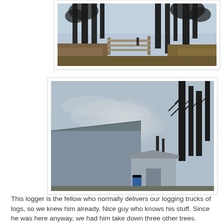[Figure (photo): Outdoor photo showing tall bare pine trees against a light blue sky, with a wooden fence/gate structure in the middle ground and dry vegetation/brush on either side. A person is faintly visible near the gate.]
[Figure (photo): Outdoor photo showing a bright hazy sun in an overcast sky, with bare winter trees on the right side and metal farm/industrial buildings (a large barn-like structure and a smaller shed) in the lower left. A blue barrel is visible near the shed.]
This logger is the fellow who normally delivers our logging trucks of logs, so we knew him already. Nice guy who knows his stuff. Since he was here anyway, we had him take down three other trees.